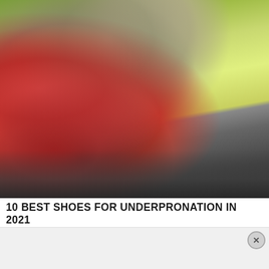[Figure (photo): Close-up photograph of the sole of a running shoe with red/pink rubber outsole tread pattern, mid-stride on asphalt pavement. Background shows blurred green foliage.]
10 BEST SHOES FOR UNDERPRONATION IN 2021
[Figure (other): Advertisement banner with a close button (X) in the top right corner.]